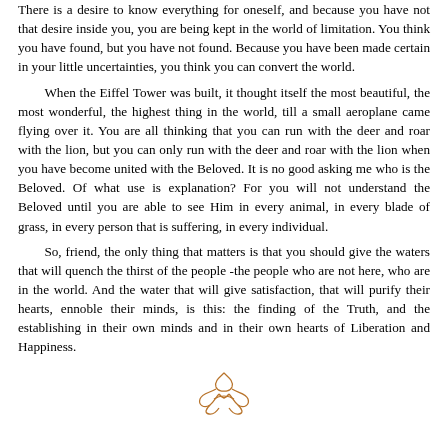There is a desire to know everything for oneself, and because you have not that desire inside you, you are being kept in the world of limitation. You think you have found, but you have not found. Because you have been made certain in your little uncertainties, you think you can convert the world.
When the Eiffel Tower was built, it thought itself the most beautiful, the most wonderful, the highest thing in the world, till a small aeroplane came flying over it. You are all thinking that you can run with the deer and roar with the lion, but you can only run with the deer and roar with the lion when you have become united with the Beloved. It is no good asking me who is the Beloved. Of what use is explanation? For you will not understand the Beloved until you are able to see Him in every animal, in every blade of grass, in every person that is suffering, in every individual.
So, friend, the only thing that matters is that you should give the waters that will quench the thirst of the people -the people who are not here, who are in the world. And the water that will give satisfaction, that will purify their hearts, ennoble their minds, is this: the finding of the Truth, and the establishing in their own minds and in their own hearts of Liberation and Happiness.
[Figure (illustration): A decorative ornamental flourish symbol in copper/brown color, resembling a stylized fleur-de-lis or calligraphic knot]